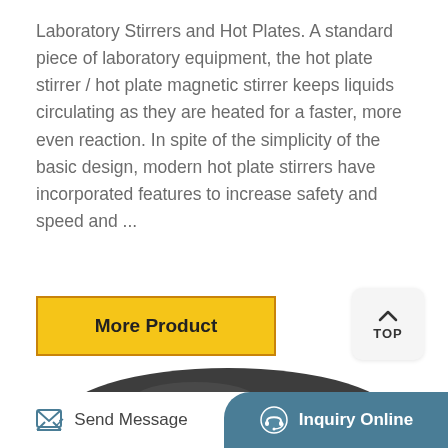Laboratory Stirrers and Hot Plates. A standard piece of laboratory equipment, the hot plate stirrer / hot plate magnetic stirrer keeps liquids circulating as they are heated for a faster, more even reaction. In spite of the simplicity of the basic design, modern hot plate stirrers have incorporated features to increase safety and speed and ...
[Figure (other): Yellow 'More Product' button with dark gold border]
[Figure (other): TOP scroll-to-top button with upward chevron icon]
[Figure (photo): Photo of a laboratory hot plate stirrer with a dark circular top surface, viewed from above at an angle, white/light colored body visible below]
[Figure (other): Bottom navigation bar with 'Send Message' button on left and 'Inquiry Online' button on right on dark teal background]